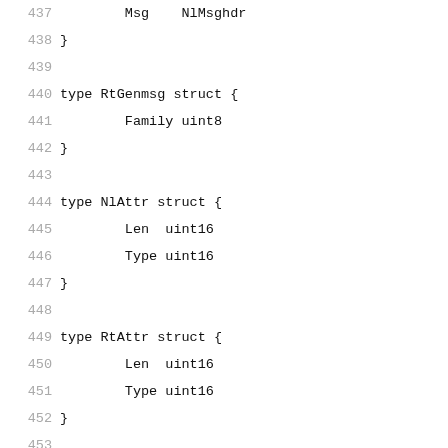437     Msg    NlMsghdr
438  }
439
440  type RtGenmsg struct {
441          Family uint8
442  }
443
444  type NlAttr struct {
445          Len  uint16
446          Type uint16
447  }
448
449  type RtAttr struct {
450          Len  uint16
451          Type uint16
452  }
453
454  type IfInfomsg struct {
455          Family      uint8
456          X__ifi_pad uint8
457          Type        uint16
458          Index       int32